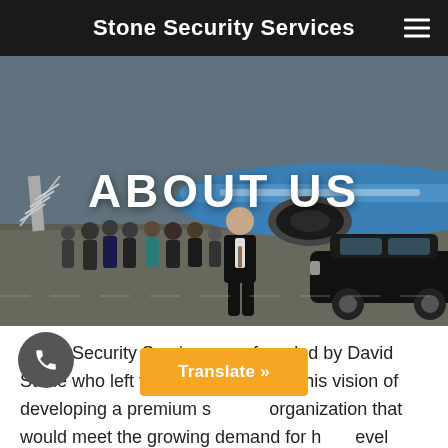Stone Security Services
[Figure (photo): An airport tarmac scene showing a group of people in business attire standing near a large blue commercial airplane with stairs, and a black luxury sedan (Mercedes-Benz) parked to the right. A man in a dark suit walks in the foreground.]
ABOUT US
Stone Security Services was founded by David Stone who left the NYPD to pursue his vision of developing a premium security organization that would meet the growing demand for high-level protective services in New York City. Stone Security Services is among the first security firms to effectively utilize